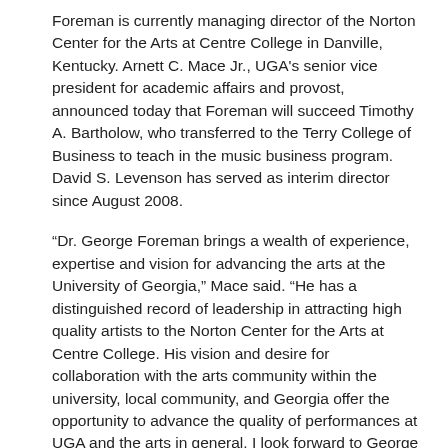Foreman is currently managing director of the Norton Center for the Arts at Centre College in Danville, Kentucky. Arnett C. Mace Jr., UGA's senior vice president for academic affairs and provost, announced today that Foreman will succeed Timothy A. Bartholow, who transferred to the Terry College of Business to teach in the music business program. David S. Levenson has served as interim director since August 2008.
“Dr. George Foreman brings a wealth of experience, expertise and vision for advancing the arts at the University of Georgia,” Mace said. “He has a distinguished record of leadership in attracting high quality artists to the Norton Center for the Arts at Centre College. His vision and desire for collaboration with the arts community within the university, local community, and Georgia offer the opportunity to advance the quality of performances at UGA and the arts in general. I look forward to George assuming this leadership role and to future performances at the University of Georgia.”